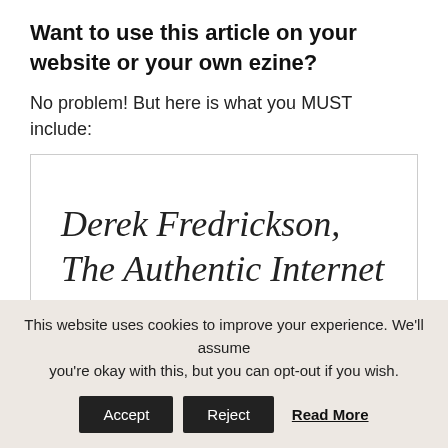Want to use this article on your website or your own ezine?
No problem! But here is what you MUST include:
Derek Fredrickson, The Authentic Internet
This website uses cookies to improve your experience. We'll assume you're okay with this, but you can opt-out if you wish.